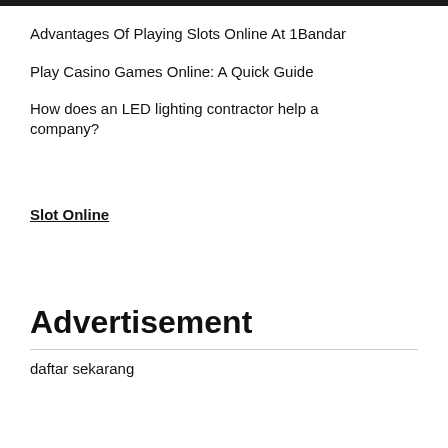Advantages Of Playing Slots Online At 1Bandar
Play Casino Games Online: A Quick Guide
How does an LED lighting contractor help a company?
Slot Online
Advertisement
daftar sekarang